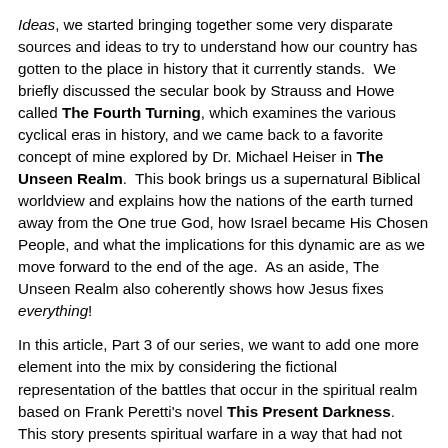Ideas, we started bringing together some very disparate sources and ideas to try to understand how our country has gotten to the place in history that it currently stands. We briefly discussed the secular book by Strauss and Howe called The Fourth Turning, which examines the various cyclical eras in history, and we came back to a favorite concept of mine explored by Dr. Michael Heiser in The Unseen Realm. This book brings us a supernatural Biblical worldview and explains how the nations of the earth turned away from the One true God, how Israel became His Chosen People, and what the implications for this dynamic are as we move forward to the end of the age. As an aside, The Unseen Realm also coherently shows how Jesus fixes everything!
In this article, Part 3 of our series, we want to add one more element into the mix by considering the fictional representation of the battles that occur in the spiritual realm based on Frank Peretti's novel This Present Darkness. This story presents spiritual warfare in a way that had not been done previously. C.S. Lewis gave us a taste of this in The Screwtape Letters, but the dramatic element that Peretti brings fuels the imagination to a greater extent.